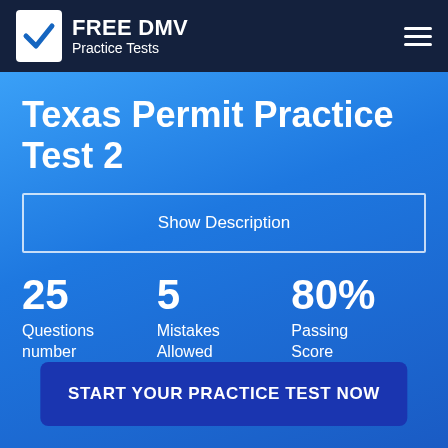FREE DMV Practice Tests
Texas Permit Practice Test 2
Show Description
25 Questions number
5 Mistakes Allowed
80% Passing Score
START YOUR PRACTICE TEST NOW